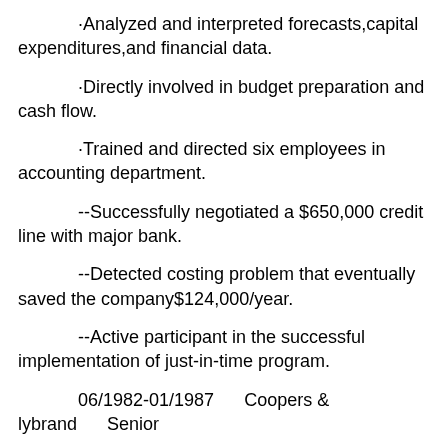·Analyzed and interpreted forecasts,capital expenditures,and financial data.
·Directly involved in budget preparation and cash flow.
·Trained and directed six employees in accounting department.
--Successfully negotiated a $650,000 credit line with major bank.
--Detected costing problem that eventually saved the company$124,000/year.
--Active participant in the successful implementation of just-in-time program.
06/1982-01/1987      Coopers & lybrand      Senior